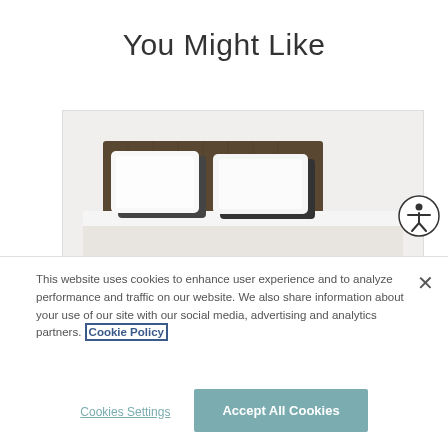You Might Like
[Figure (photo): Product photo of a bed with white pillows and bedding against a dark wooden headboard, partially visible in a bordered product card]
This website uses cookies to enhance user experience and to analyze performance and traffic on our website. We also share information about your use of our site with our social media, advertising and analytics partners. Cookie Policy
Cookies Settings
Accept All Cookies